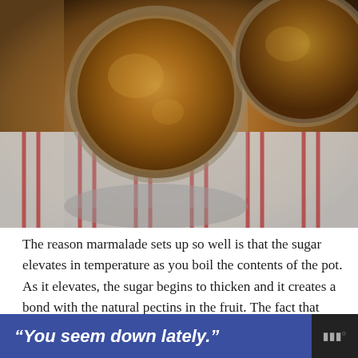[Figure (photo): Overhead view of two open glass mason jars filled with orange marmalade, sitting on a red and white striped cloth or towel on a wooden surface.]
The reason marmalade sets up so well is that the sugar elevates in temperature as you boil the contents of the pot. As it elevates, the sugar begins to thicken and it creates a bond with the natural pectins in the fruit. The fact that oranges also contain a goodly amount of acid also helps with the set.
“You seem down lately.”